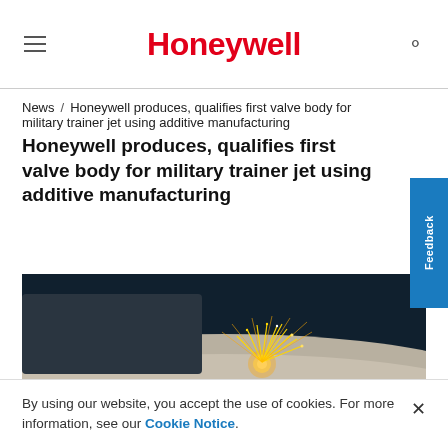Honeywell
News / Honeywell produces, qualifies first valve body for military trainer jet using additive manufacturing
[Figure (photo): Close-up photo of a laser sintering or additive manufacturing machine at work, with bright sparks flying from the laser point on a metal powder bed surface, dark blue background.]
By using our website, you accept the use of cookies. For more information, see our Cookie Notice.